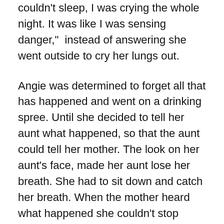Angie had no response, the mother went on to say, "I couldn't sleep, I was crying the whole night. It was like I was sensing danger," instead of answering she went outside to cry her lungs out.
Angie was determined to forget all that has happened and went on a drinking spree. Until she decided to tell her aunt what happened, so that the aunt could tell her mother. The look on her aunt's face, made her aunt lose her breath. She had to sit down and catch her breath. When the mother heard what happened she couldn't stop crying. Angie felt fine and so the psychologist told her that she had what they call survivor's euphoria and in time it will come back all at once and she was right. Angie became a different person, withdrawn and started isolating herself. All Angie does when she's alone is cry. Angie told the very same ex what happened, at that moment she was blaming